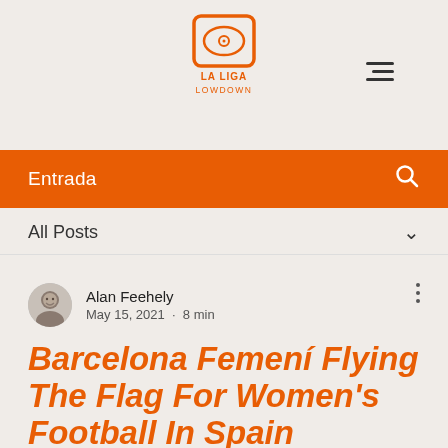[Figure (logo): La Liga Lowdown logo in orange — soccer field icon with LA LIGA LOWDOWN text]
[Figure (other): Hamburger menu icon (three horizontal lines, right-aligned)]
Entrada
[Figure (other): Search icon (magnifying glass)]
All Posts
Alan Feehely
May 15, 2021 · 8 min
Barcelona Femení Flying The Flag For Women's Football In Spain